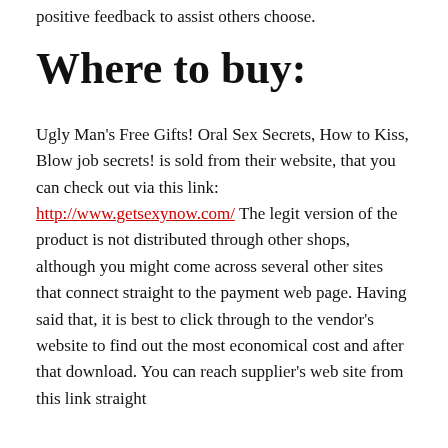positive feedback to assist others choose.
Where to buy:
Ugly Man's Free Gifts! Oral Sex Secrets, How to Kiss, Blow job secrets! is sold from their website, that you can check out via this link: http://www.getsexynow.com/ The legit version of the product is not distributed through other shops, although you might come across several other sites that connect straight to the payment web page. Having said that, it is best to click through to the vendor's website to find out the most economical cost and after that download. You can reach supplier's web site from this link straight
Bottom Line